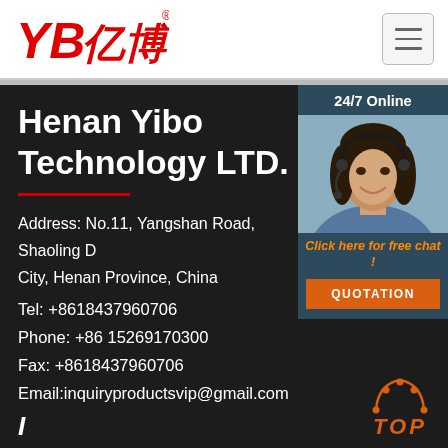[Figure (logo): YB亿博 company logo in red italic text with registered trademark symbol]
[Figure (other): Hamburger menu button in top right corner]
Henan Yibo Technology LTD.
[Figure (photo): 24/7 Online customer service agent panel with woman wearing headset, orange quotation button, and free chat link]
Address: No.11, Yangshan Road, Shaoling District, Henan Province, China
Tel: +8618437960706
Phone: +86 15269170300
Fax: +8618437960706
Email:inquiryproductsvip@gmail.com